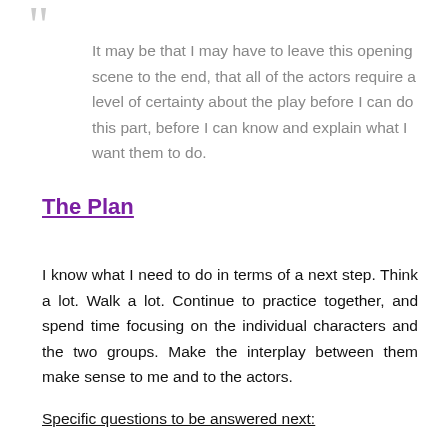It may be that I may have to leave this opening scene to the end, that all of the actors require a level of certainty about the play before I can do this part, before I can know and explain what I want them to do.
The Plan
I know what I need to do in terms of a next step. Think a lot. Walk a lot. Continue to practice together, and spend time focusing on the individual characters and the two groups. Make the interplay between them make sense to me and to the actors.
Specific questions to be answered next: